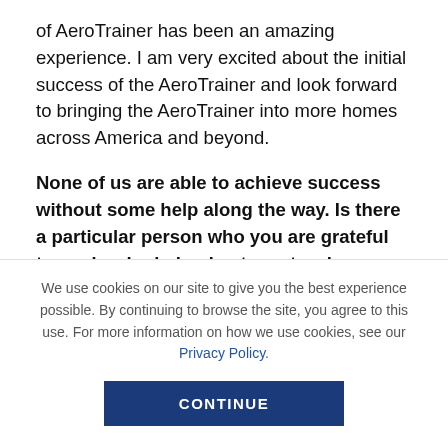of AeroTrainer has been an amazing experience. I am very excited about the initial success of the AeroTrainer and look forward to bringing the AeroTrainer into more homes across America and beyond.
None of us are able to achieve success without some help along the way. Is there a particular person who you are grateful towards who helped get you to where you are? Can do you share a story about that?
We use cookies on our site to give you the best experience possible. By continuing to browse the site, you agree to this use. For more information on how we use cookies, see our Privacy Policy.
CONTINUE